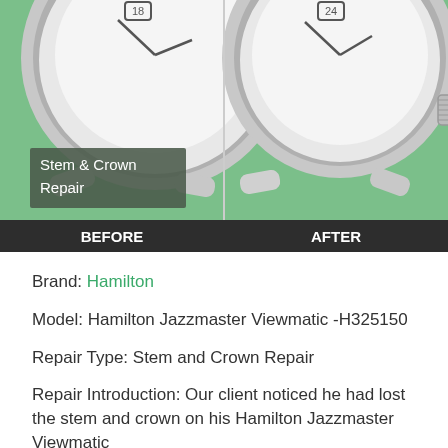[Figure (photo): Before and after comparison photo of a Hamilton watch stem and crown repair. Left side shows watch with missing stem/crown (broken), right side shows repaired watch with crown intact. Green background. A dark overlay label reads 'Stem & Crown Repair' on the before image. A dark bar at the bottom shows 'BEFORE' on left and 'AFTER' on right in bold white text.]
Brand: Hamilton
Model: Hamilton Jazzmaster Viewmatic -H325150
Repair Type: Stem and Crown Repair
Repair Introduction: Our client noticed he had lost the stem and crown on his Hamilton Jazzmaster Viewmatic